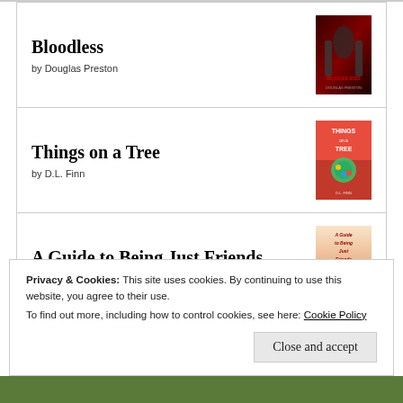Bloodless
by Douglas Preston
[Figure (illustration): Book cover of Bloodless - dark red and black thriller cover]
Things on a Tree
by D.L. Finn
[Figure (illustration): Book cover of Things on a Tree - red cover with tree and decorations]
A Guide to Being Just Friends
by Sophie Sullivan
[Figure (illustration): Book cover of A Guide to Being Just Friends - warm pastel tones]
Privacy & Cookies: This site uses cookies. By continuing to use this website, you agree to their use.
To find out more, including how to control cookies, see here: Cookie Policy
Close and accept